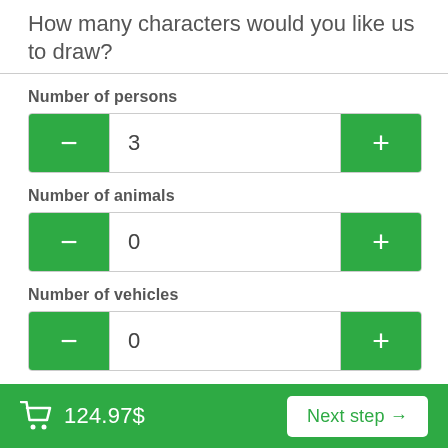How many characters would you like us to draw?
Number of persons
3
Number of animals
0
Number of vehicles
0
Background type
Fully Drawn
124.97$
Next step →